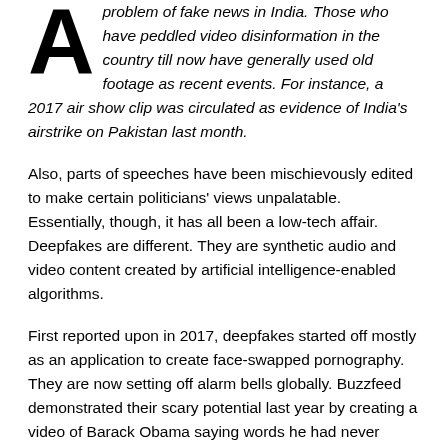A problem of fake news in India. Those who have peddled video disinformation in the country till now have generally used old footage as recent events. For instance, a 2017 air show clip was circulated as evidence of India's airstrike on Pakistan last month.
Also, parts of speeches have been mischievously edited to make certain politicians' views unpalatable. Essentially, though, it has all been a low-tech affair. Deepfakes are different. They are synthetic audio and video content created by artificial intelligence-enabled algorithms.
First reported upon in 2017, deepfakes started off mostly as an application to create face-swapped pornography. They are now setting off alarm bells globally. Buzzfeed demonstrated their scary potential last year by creating a video of Barack Obama saying words he had never uttered.
While some feel the fears of such disinformation are overblown, especially since no election in the world is confirmed to have been influenced by